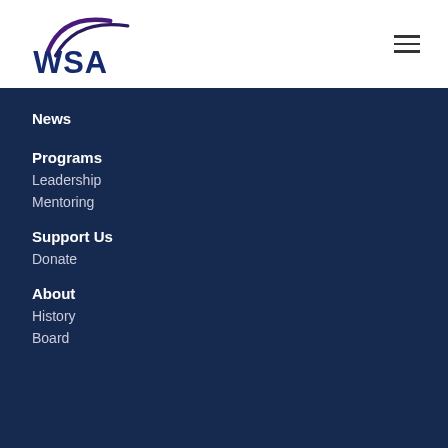[Figure (logo): WSA logo with swoosh arcs above the text WSA in dark blue/purple]
News
Programs
Leadership
Mentoring
Support Us
Donate
About
History
Board